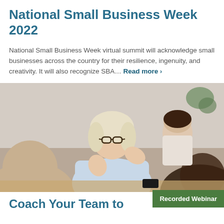National Small Business Week 2022
National Small Business Week virtual summit will acknowledge small businesses across the country for their resilience, ingenuity, and creativity. It will also recognize SBA... Read more ›
[Figure (photo): A middle-aged woman with blonde hair and glasses gestures with both hands while speaking at a table; another younger woman is visible in the background listening.]
Recorded Webinar
Coach Your Team to